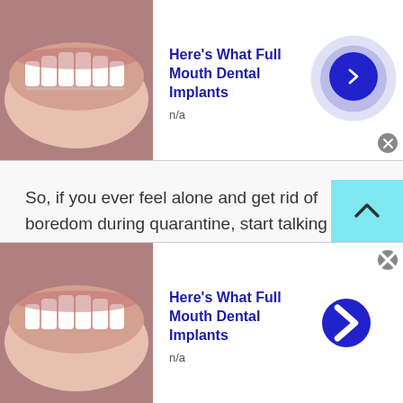[Figure (screenshot): Top advertisement banner showing dental implants thumbnail image with title Here's What Full Mouth Dental Implants, n/a subtitle, and a blue circular arrow button with ripple effect]
So, if you ever feel alone and get rid of boredom during quarantine, start talking to strangers in Burundi at TWS. Millions of female and male strangers are waiting to talk to you. All they want to share their feelings, secrets and suggestions with you.
Senior chat
Are you old age? Or thinking online chatting sites
[Figure (screenshot): Bottom advertisement banner showing dental implants thumbnail image with title Here's What Full Mouth Dental Implants, n/a subtitle, and a blue circular arrow button]